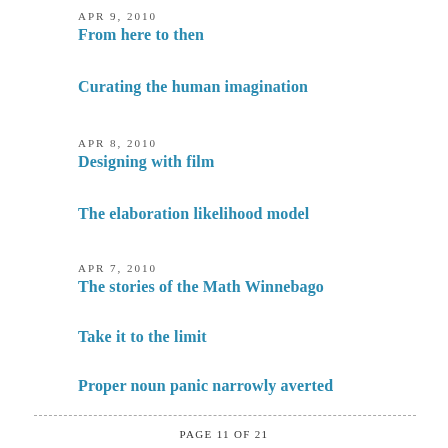APR 9, 2010
From here to then
Curating the human imagination
APR 8, 2010
Designing with film
The elaboration likelihood model
APR 7, 2010
The stories of the Math Winnebago
Take it to the limit
Proper noun panic narrowly averted
PAGE 11 OF 21